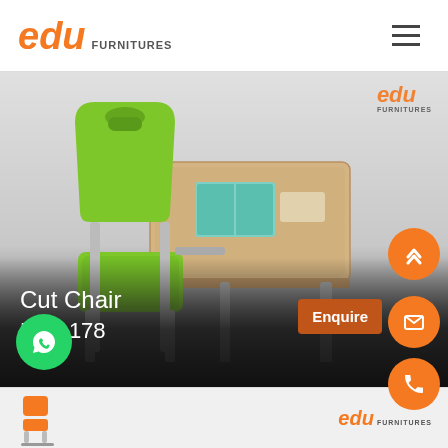edu FURNITURES
[Figure (photo): School desk and chair set with green plastic chair back and seat on grey metal frame, wooden desktop with books, product image for Cut Chair RF-1178]
Cut Chair
RF-1178
Enquire